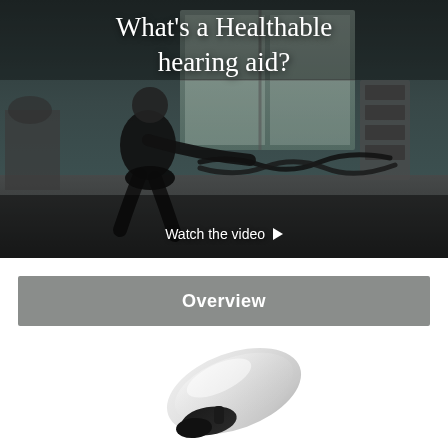[Figure (photo): Hero image showing a person in a gym doing battle rope exercise with dark background. Text overlay reads 'What's a Healthable hearing aid?' and 'Watch the video' with a play button.]
What's a Healthable hearing aid?
Watch the video ▶
Overview
[Figure (photo): Photo of a Healthable hearing aid device, silver/white colored, shown partially at the bottom of the page.]